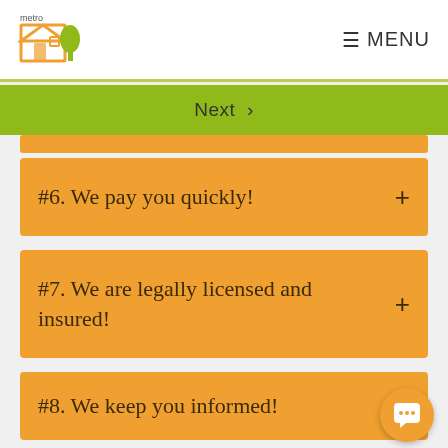metro [logo] ☰ MENU
Next >
#6. We pay you quickly!
#7. We are legally licensed and insured!
#8. We keep you informed!
#9. We have great references!